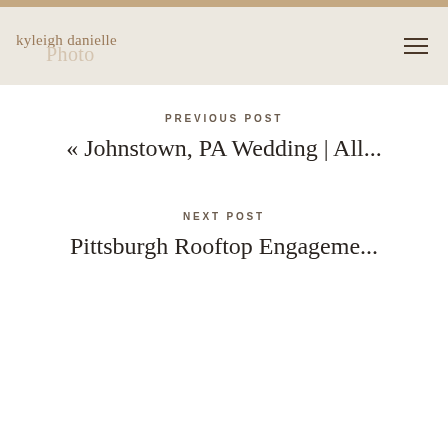kyleigh danielle photo
PREVIOUS POST
« Johnstown, PA Wedding | All...
NEXT POST
Pittsburgh Rooftop Engageme...